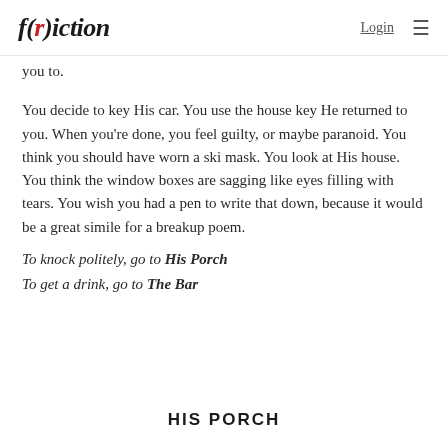f(r)iction — Login ≡
you to.
You decide to key His car. You use the house key He returned to you. When you're done, you feel guilty, or maybe paranoid. You think you should have worn a ski mask. You look at His house. You think the window boxes are sagging like eyes filling with tears. You wish you had a pen to write that down, because it would be a great simile for a breakup poem.
To knock politely, go to His Porch
To get a drink, go to The Bar
HIS PORCH